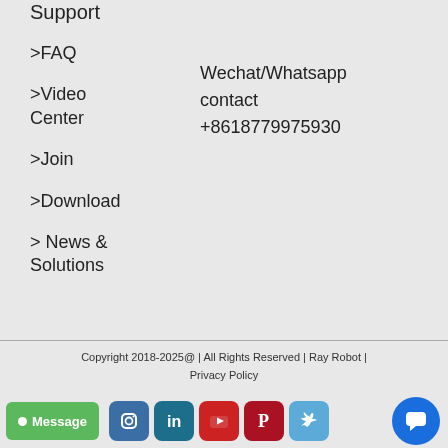Support
>FAQ
>Video Center
Wechat/Whatsapp contact +8618779975930
>Join
>Download
> News & Solutions
Copyright 2018-2025@ | All Rights Reserved | Ray Robot | Privacy Policy
[Figure (infographic): Social media icons row: Instagram, LinkedIn, YouTube, Pinterest, Twitter. Green Message button on left. Blue chat bubble button on far right.]